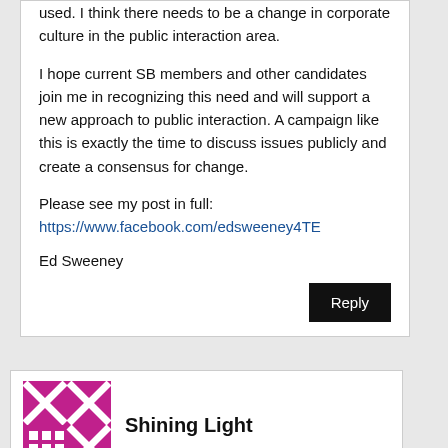used. I think there needs to be a change in corporate culture in the public interaction area.
I hope current SB members and other candidates join me in recognizing this need and will support a new approach to public interaction. A campaign like this is exactly the time to discuss issues publicly and create a consensus for change.
Please see my post in full: https://www.facebook.com/edsweeney4TE
Ed Sweeney
Reply
Shining Light
July 16, 2015 at 7:24 AM